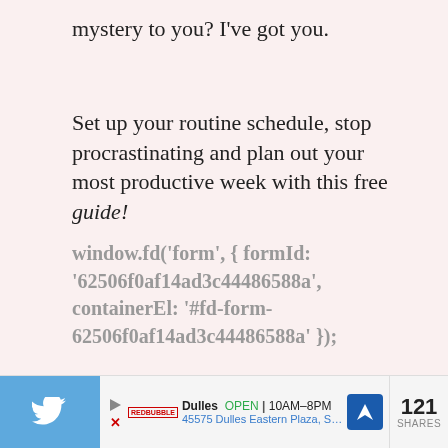mystery to you? I've got you.
Set up your routine schedule, stop procrastinating and plan out your most productive week with this free guide!
window.fd('form', { formId: '62506f0af14ad3c44486588a', containerEl: '#fd-form-62506f0af14ad3c44486588a' });
Dulles  OPEN  10AM–8PM  45575 Dulles Eastern Plaza, Suite 171, D    121 SHARES